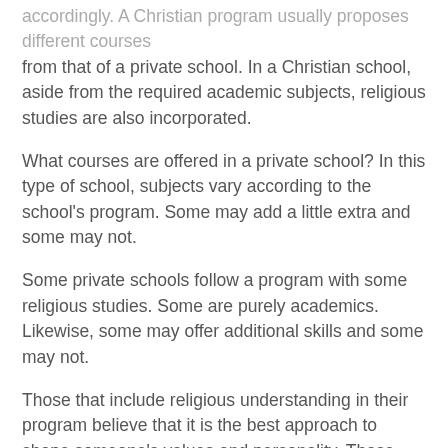accordingly. A Christian program usually proposes different courses from that of a private school. In a Christian school, aside from the required academic subjects, religious studies are also incorporated.
What courses are offered in a private school? In this type of school, subjects vary according to the school's program. Some may add a little extra and some may not.
Some private schools follow a program with some religious studies. Some are purely academics. Likewise, some may offer additional skills and some may not.
Those that include religious understanding in their program believe that it is the best approach to shape someone's values and personality. Those who do not are maybe relying on the parents or simply believe that academics and religion should not be taught together.
So which approach is the best? Though online homeschool reviews and resources choose one from the other, this decision is still entirely dependent on your judgment. Just keep in mind, balance